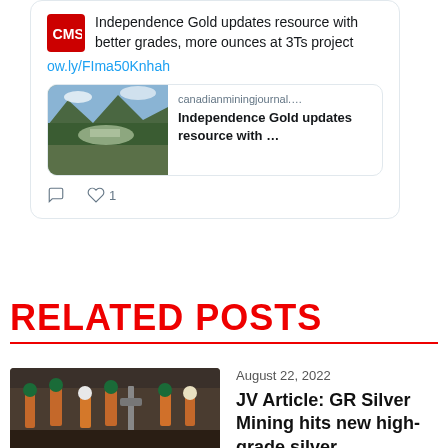Independence Gold updates resource with better grades, more ounces at 3Ts project
ow.ly/FIma50Knhah
[Figure (screenshot): Article preview card showing aerial landscape photo and canadianminingjournal.... headline: Independence Gold updates resource with ...]
1 like
RELATED POSTS
August 22, 2022
JV Article: GR Silver Mining hits new high-grade silver...
[Figure (photo): Workers in orange mining gear and helmets in an underground or outdoor mining setting]